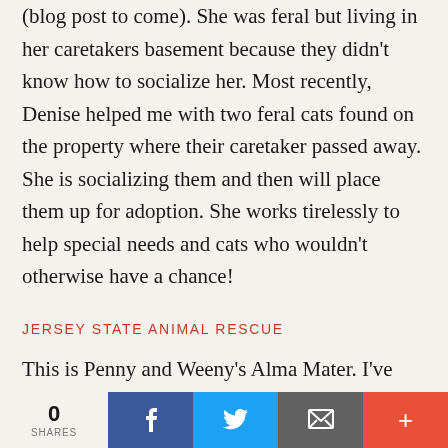(blog post to come). She was feral but living in her caretakers basement because they didn't know how to socialize her. Most recently, Denise helped me with two feral cats found on the property where their caretaker passed away. She is socializing them and then will place them up for adoption. She works tirelessly to help special needs and cats who wouldn't otherwise have a chance!
JERSEY STATE ANIMAL RESCUE
This is Penny and Weeny's Alma Mater. I've been to their home facility as well as their cat room at Pet
[Figure (infographic): Social sharing bar at the bottom of the page with share count (0 SHARES), Facebook button, Twitter button, Email button, and More (+) button]